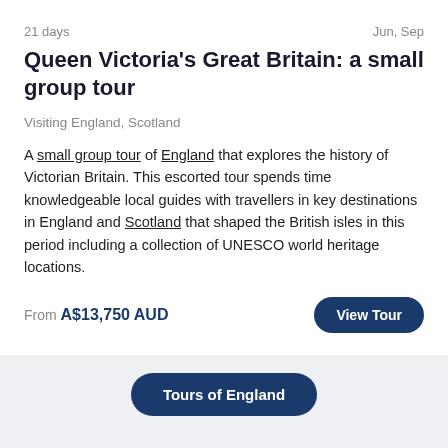21 days
Jun, Sep
Queen Victoria's Great Britain: a small group tour
Visiting England, Scotland
A small group tour of England that explores the history of Victorian Britain. This escorted tour spends time knowledgeable local guides with travellers in key destinations in England and Scotland that shaped the British isles in this period including a collection of UNESCO world heritage locations.
From A$13,750 AUD
View Tour
Tours of England
Related Articles